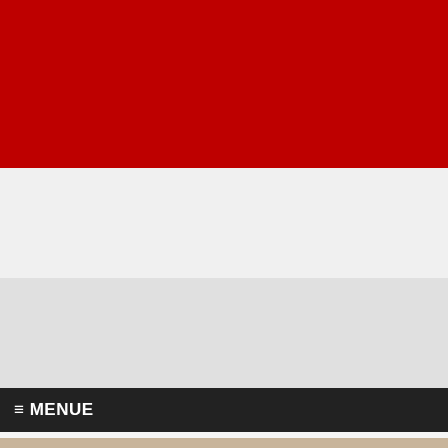[Figure (other): Red header banner bar at the top of the page]
[Figure (other): Light gray advertisement/banner area below the red bar]
[Figure (other): Medium gray advertisement/banner area, second row]
≡ MENUE
[Figure (other): Promotional banner with tan/beige background showing HIGH5 BONUS countdown: 18 STD 15 MIN 13, with text KATIL VE NEFIS BONUSU KAP and En iyi 5 kullanici bizden ucretsiz yag dakikalari alir. and button BONUS PROGRAMINA BURADAN UCRETSIZ KATILIM. Pink circle badge with JETZT NEU text on right side.]